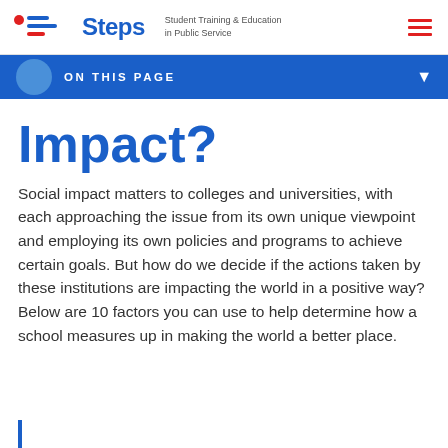Steps — Student Training & Education in Public Service
ON THIS PAGE
Impact?
Social impact matters to colleges and universities, with each approaching the issue from its own unique viewpoint and employing its own policies and programs to achieve certain goals. But how do we decide if the actions taken by these institutions are impacting the world in a positive way? Below are 10 factors you can use to help determine how a school measures up in making the world a better place.